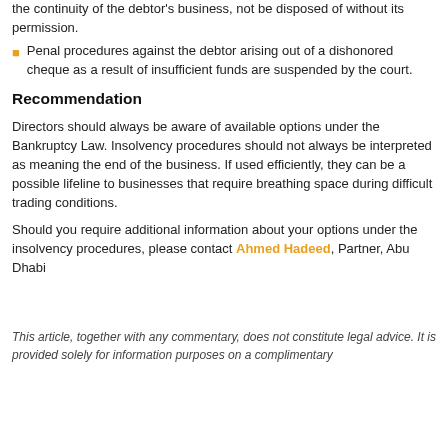the continuity of the debtor's business, not be disposed of without its permission.
Penal procedures against the debtor arising out of a dishonored cheque as a result of insufficient funds are suspended by the court.
Recommendation
Directors should always be aware of available options under the Bankruptcy Law. Insolvency procedures should not always be interpreted as meaning the end of the business. If used efficiently, they can be a possible lifeline to businesses that require breathing space during difficult trading conditions.
Should you require additional information about your options under the insolvency procedures, please contact Ahmed Hadeed, Partner, Abu Dhabi
This article, together with any commentary, does not constitute legal advice. It is provided solely for information purposes on a complimentary